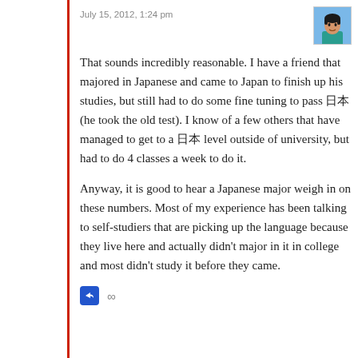July 15, 2012, 1:24 pm
[Figure (illustration): Cartoon-style avatar of a man with dark hair wearing a teal/green shirt, with a blue sky background]
That sounds incredibly reasonable. I have a friend that majored in Japanese and came to Japan to finish up his studies, but still had to do some fine tuning to pass 日本語 (he took the old test). I know of a few others that have managed to get to a 日本語 level outside of university, but had to do 4 classes a week to do it.
Anyway, it is good to hear a Japanese major weigh in on these numbers. Most of my experience has been talking to self-studiers that are picking up the language because they live here and actually didn't major in it in college and most didn't study it before they came.
[Figure (screenshot): Reply button icon (blue square with reply arrow) and infinity symbol]